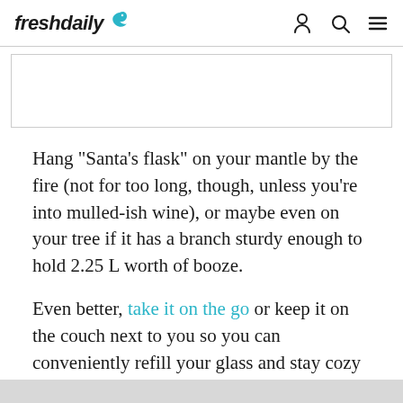freshdaily
[Figure (other): Advertisement placeholder box]
Hang "Santa's flask" on your mantle by the fire (not for too long, though, unless you're into mulled-ish wine), or maybe even on your tree if it has a branch sturdy enough to hold 2.25 L worth of booze.
Even better, take it on the go or keep it on the couch next to you so you can conveniently refill your glass and stay cozy throughout the evening as you listen to your parents argue with one another.